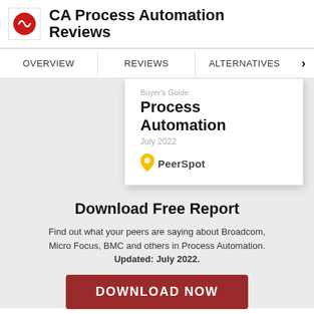CA Process Automation Reviews
OVERVIEW | REVIEWS | ALTERNATIVES
[Figure (screenshot): Buyer's Guide dropdown card showing Process Automation, July 2022, with PeerSpot logo]
Download Free Report
Find out what your peers are saying about Broadcom, Micro Focus, BMC and others in Process Automation. Updated: July 2022.
DOWNLOAD NOW